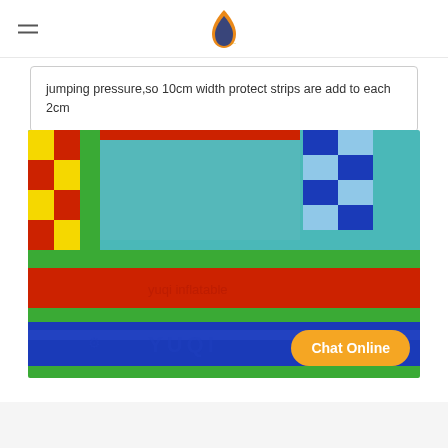jumping pressure,so 10cm width protect strips are add to each 2cm
[Figure (photo): Close-up interior view of a colorful inflatable bouncy castle showing padded walls and floor in red, blue, green colors with a checkered cylindrical pillar. YUQI watermark visible on the blue panel.]
Chat Online